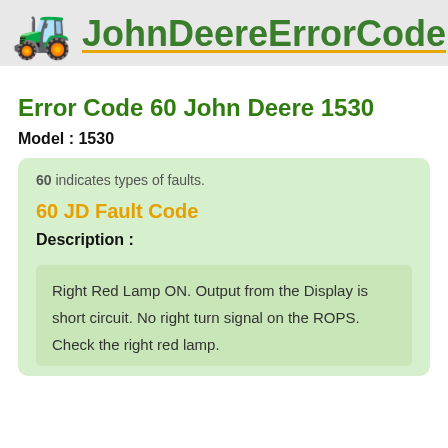JohnDeereErrorCode
Error Code 60 John Deere 1530
Model : 1530
60 indicates types of faults.
60 JD Fault Code
Description :
Right Red Lamp ON. Output from the Display is short circuit. No right turn signal on the ROPS. Check the right red lamp.